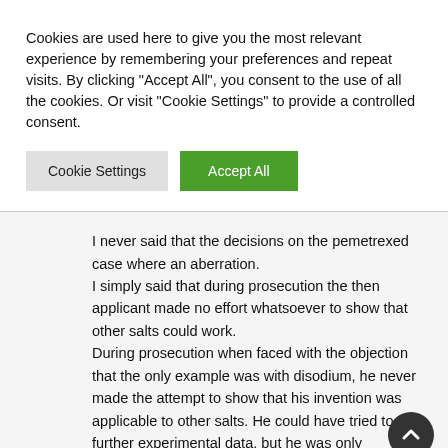Cookies are used here to give you the most relevant experience by remembering your preferences and repeat visits. By clicking "Accept All", you consent to the use of all the cookies. Or visit "Cookie Settings" to provide a controlled consent.
Cookie Settings | Accept All
I never said that the decisions on the pemetrexed case where an aberration. I simply said that during prosecution the then applicant made no effort whatsoever to show that other salts could work. During prosecution when faced with the objection that the only example was with disodium, he never made the attempt to show that his invention was applicable to other salts. He could have tried to file further experimental data, but he was only interested in a very quick grant. His only